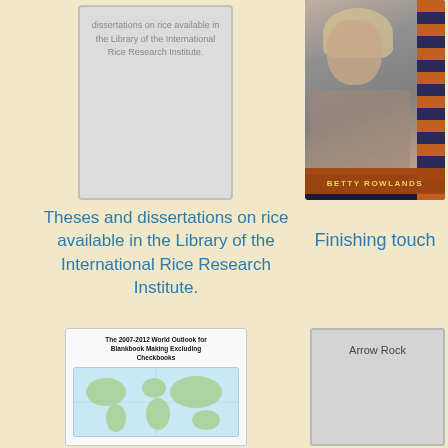[Figure (illustration): Book cover placeholder for 'Theses and dissertations on rice available in the Library of the International Rice Research Institute' — gray cover with title text]
[Figure (illustration): Book cover 'Betty Rowlands' with a sketch of a woman and dark blue/brown striped spine]
Theses and dissertations on rice available in the Library of the International Rice Research Institute.
Finishing touch
[Figure (illustration): Book cover 'The 2007-2012 World Outlook for Blankbook Making Excluding Checkbooks' with world map illustration]
[Figure (illustration): Book cover placeholder for 'Arrow Rock' — gray cover with title text]